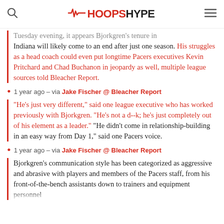HOOPSHYPE
Tuesday evening, it appears Bjorkgren's tenure in Indiana will likely come to an end after just one season. His struggles as a head coach could even put longtime Pacers executives Kevin Pritchard and Chad Buchanon in jeopardy as well, multiple league sources told Bleacher Report.
1 year ago – via Jake Fischer @ Bleacher Report
"He's just very different," said one league executive who has worked previously with Bjorkgren. "He's not a d--k; he's just completely out of his element as a leader." "He didn't come in relationship-building in an easy way from Day 1," said one Pacers voice.
1 year ago – via Jake Fischer @ Bleacher Report
Bjorkgren's communication style has been categorized as aggressive and abrasive with players and members of the Pacers staff, from his front-of-the-bench assistants down to trainers and equipment personnel